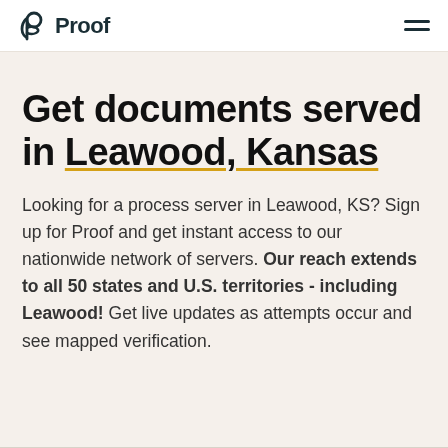Proof
Get documents served in Leawood, Kansas
Looking for a process server in Leawood, KS? Sign up for Proof and get instant access to our nationwide network of servers. Our reach extends to all 50 states and U.S. territories - including Leawood! Get live updates as attempts occur and see mapped verification.